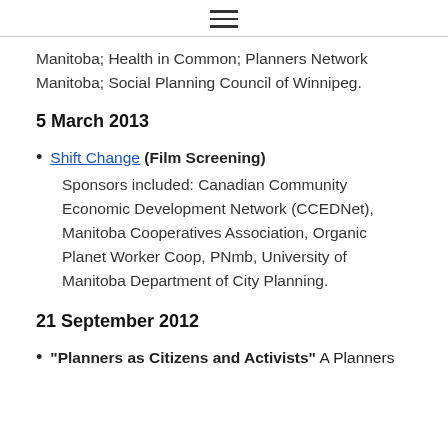≡
Manitoba; Health in Common; Planners Network Manitoba; Social Planning Council of Winnipeg.
5 March 2013
Shift Change (Film Screening) Sponsors included: Canadian Community Economic Development Network (CCEDNet), Manitoba Cooperatives Association, Organic Planet Worker Coop, PNmb, University of Manitoba Department of City Planning.
21 September 2012
"Planners as Citizens and Activists" A Planners